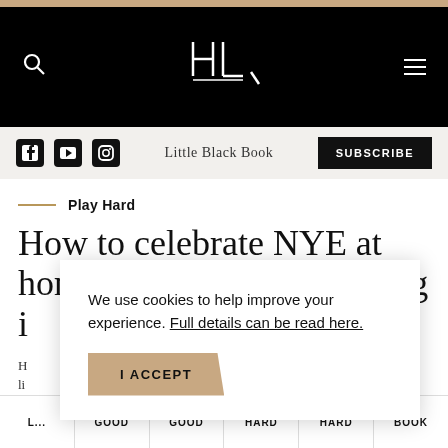HLN logo navigation bar with search and menu icons
Little Black Book | SUBSCRIBE
Play Hard
How to celebrate NYE at home when we're all staying i
H... li... y...
We use cookies to help improve your experience. Full details can be read here.
I ACCEPT
L... GOOD GOOD HARD HARD BOOK